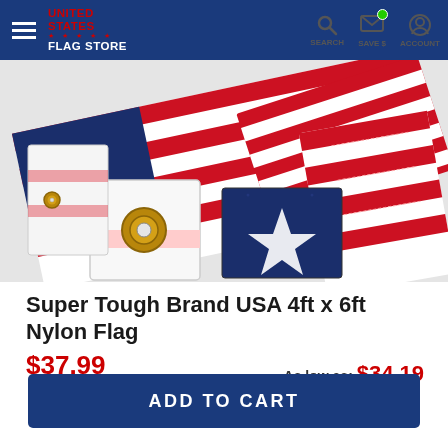United States Flag Store — SEARCH  SAVE $  ACCOUNT
[Figure (photo): Product photo of a USA nylon flag spread out showing red and white stripes, a blue canton with white embroidered star, brass grommets, and detail of the stitching — folded and splayed across a white background to show multiple close-up detail areas.]
Super Tough Brand USA 4ft x 6ft Nylon Flag
$37.99
As low as: $34.19
ADD TO CART